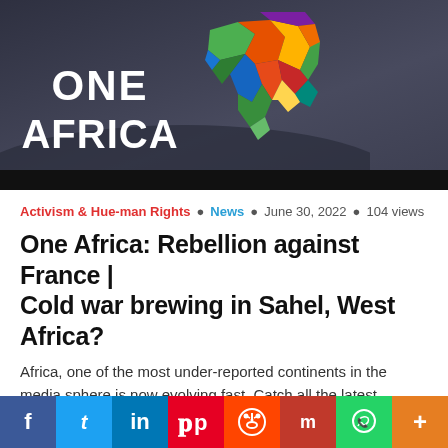[Figure (screenshot): One Africa TV logo on dark background with colorful map of Africa]
Activism & Hue-man Rights • News • June 30, 2022 • 104 views
One Africa: Rebellion against France | Cold war brewing in Sahel, West Africa?
Africa, one of the most under-reported continents in the media sphere is now evolving fast. Catch all the latest vibrant, untold &...
[Figure (screenshot): Second article thumbnail image, partially visible]
f  t  in  p  s  m  WhatsApp  +